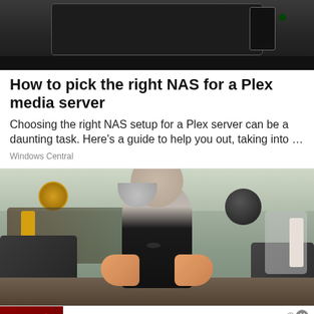[Figure (photo): Close-up photo of a dark NAS device on a light background]
How to pick the right NAS for a Plex media server
Choosing the right NAS setup for a Plex server can be a daunting task. Here's a guide to help you out, taking into …
Windows Central
[Figure (photo): Older bearded man in a black sleeveless shirt at a gym, surrounded by gym equipment and other people]
[Figure (photo): NFL Shop advertisement banner with logo, text and shop now button]